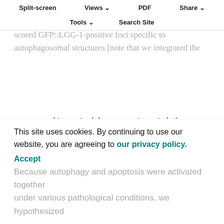Split-screen  Views  PDF  Share  Tools  Search Site
microscopic (EM) analysis suggested (Fig. 2A)—indeed became … in response to depletion of … We scored GFP::LGG-1-positive foci specific to autophagosomal structures [note that we integrated the reporter and isogenized the transgenic strain before starting autophagosome quantification) at a given focal plane in control (fed with bacteria carrying the empty vector) and dut-1(RNAi) embryos, and found a significantly higher number of GFP-positive dots in the depleted animals (Fig. 3C). Thus, genotoxic stress triggers autophagic activity in embryos.
The autophagic and apoptotic gene cascades are required redundantly for the viability and
This site uses cookies. By continuing to use our website, you are agreeing to our privacy policy.
Accept
Because autophagy and apoptosis were activated together under various pathological conditions, we hypothesized